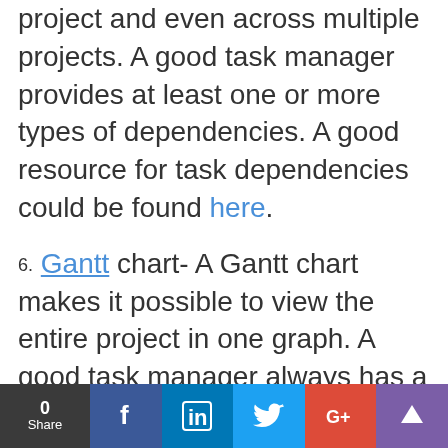project and even across multiple projects. A good task manager provides at least one or more types of dependencies. A good resource for task dependencies could be found here.
6. Gantt chart- A Gantt chart makes it possible to view the entire project in one graph. A good task manager always has a Gantt chart accompanying it
0 Share | f | in | Twitter | G+ | crown